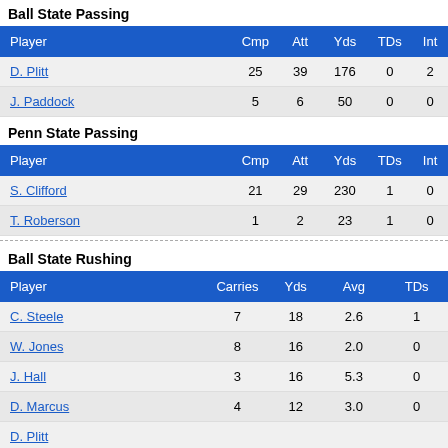Ball State Passing
| Player | Cmp | Att | Yds | TDs | Int |
| --- | --- | --- | --- | --- | --- |
| D. Plitt | 25 | 39 | 176 | 0 | 2 |
| J. Paddock | 5 | 6 | 50 | 0 | 0 |
Penn State Passing
| Player | Cmp | Att | Yds | TDs | Int |
| --- | --- | --- | --- | --- | --- |
| S. Clifford | 21 | 29 | 230 | 1 | 0 |
| T. Roberson | 1 | 2 | 23 | 1 | 0 |
Ball State Rushing
| Player | Carries | Yds | Avg | TDs |
| --- | --- | --- | --- | --- |
| C. Steele | 7 | 18 | 2.6 | 1 |
| W. Jones | 8 | 16 | 2.0 | 0 |
| J. Hall | 3 | 16 | 5.3 | 0 |
| D. Marcus | 4 | 12 | 3.0 | 0 |
| D. Plitt | … | … | … | … |